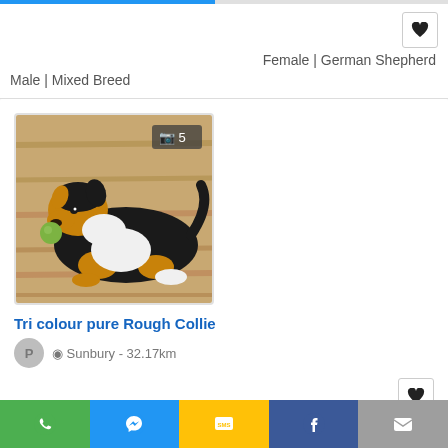Female | German Shepherd
Male | Mixed Breed
[Figure (photo): A tri-colour Rough Collie dog lying on a wooden floor holding a green ball, with a photo count badge showing camera icon and 5]
Tri colour pure Rough Collie
P  Sunbury - 32.17km
Male | Rough Collie